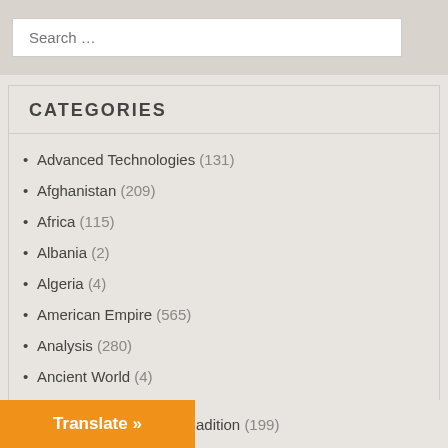Search …
CATEGORIES
Advanced Technologies (131)
Afghanistan (209)
Africa (115)
Albania (2)
Algeria (4)
American Empire (565)
Analysis (280)
Ancient World (4)
Architecture (1)
Argentina (19)
Arts (39)
…adition (199)
Translate »